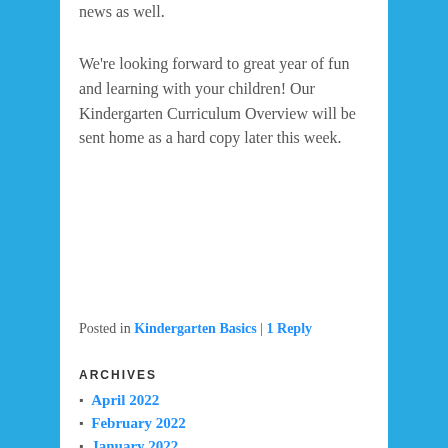news as well.
We're looking forward to great year of fun and learning with your children!  Our Kindergarten Curriculum Overview will be sent home as a hard copy later this week.
Posted in Kindergarten Basics | 1 Reply
ARCHIVES
April 2022
February 2022
January 2022